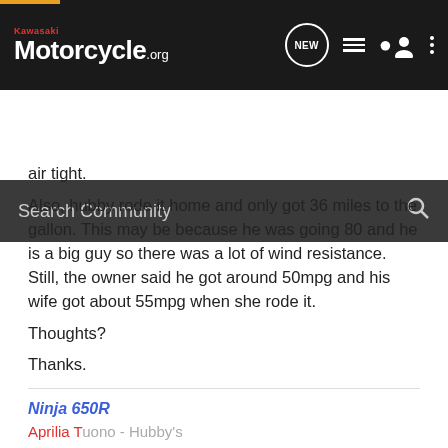Kawasaki Motorcycle.org
air tight.
Also, hubby rode it home and only got 36 miles to the gallon. This may be because he was going 80 and he is a big guy so there was a lot of wind resistance. Still, the owner said he got around 50mpg and his wife got about 55mpg when she rode it.
Thoughts?
Thanks.
Ninja 650R
Aprilia Tuono - Hubby's